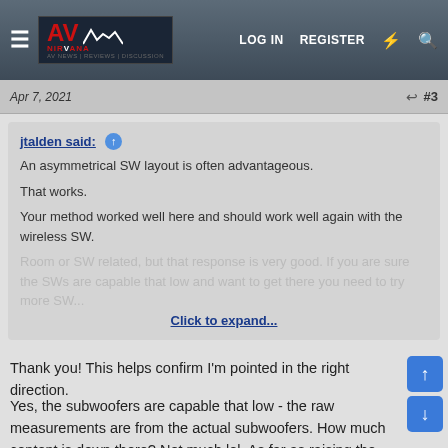AV NIRVANA — LOG IN   REGISTER
Apr 7, 2021   #3
jtalden said:
An asymmetrical SW layout is often advantageous.

That works.

Your method worked well here and should work well again with the wireless SW.

Room or SW related, but that response is very good. If you are sure the SWs are capable that low and want to get there you need to try more SW.

Click to expand...
Thank you! This helps confirm I'm pointed in the right direction.
Yes, the subwoofers are capable that low - the raw measurements are from the actual subwoofers. How much content is down there? Not much lol. As far as raising the subwoofer higher, I'm kind of out of luck there. I guess I could get some flyware like a nightclub lol.
With the log scale that area between 5-20Hz is huge. Is that how we perceive sound, or am I focusing on an area that is probably not that